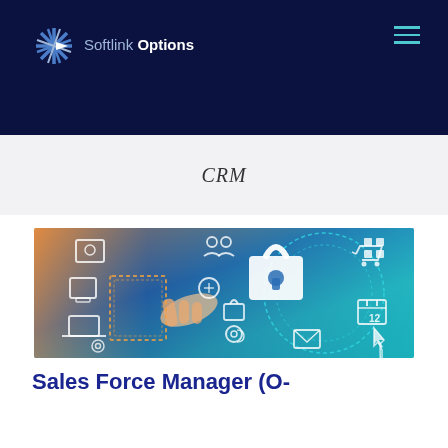Softlink Options
CRM
[Figure (photo): CRM technology illustration showing a hand pointing at a digital interface with a padlock, various app icons (people, mail, shopping cart, calendar, laptop), and teal/turquoise circular design elements on a blue background]
Sales Force Manager (O-